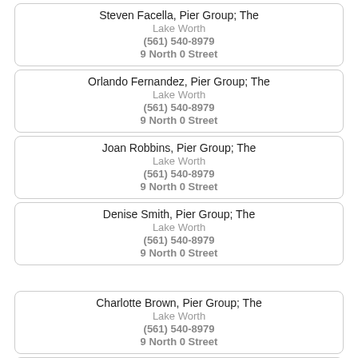Steven Facella, Pier Group; The
Lake Worth
(561) 540-8979
9 North 0 Street
Orlando Fernandez, Pier Group; The
Lake Worth
(561) 540-8979
9 North 0 Street
Joan Robbins, Pier Group; The
Lake Worth
(561) 540-8979
9 North 0 Street
Denise Smith, Pier Group; The
Lake Worth
(561) 540-8979
9 North 0 Street
Charlotte Brown, Pier Group; The
Lake Worth
(561) 540-8979
9 North 0 Street
Steven N Facella, Pier Group The